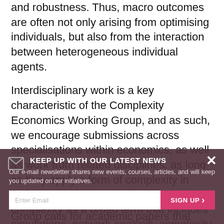and robustness. Thus, macro outcomes are often not only arising from optimising individuals, but also from the interaction between heterogeneous individual agents.
Interdisciplinary work is a key characteristic of the Complexity Economics Working Group, and as such, we encourage submissions across specialisations within economics, as well as work from related disciplines, as long as they apply a form of complexity in their approach. We use the term complexity as a broad term that includes simulations, network analysis, complexity measures, and analytical methods.
For the 2023 Complexity Economics Working Group calls for academic papers that relate to the following, but are not limited to:
[Figure (infographic): Newsletter signup popup overlay with dark brownish-red background. Shows envelope icon, bold heading 'KEEP UP WITH OUR LATEST NEWS', body text 'Our e-mail newsletter shares new events, courses, articles, and will keep you updated on our initiatives.', email input field with placeholder 'Enter Email', and a pink 'SIGN UP >' button. Close button (X) in top-right corner.]